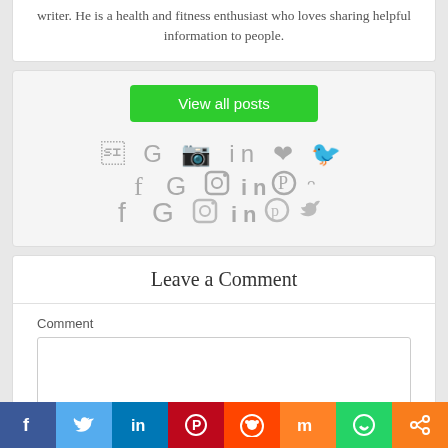writer. He is a health and fitness enthusiast who loves sharing helpful information to people.
[Figure (screenshot): Green 'View all posts' button and social media icons (Facebook, Google, Instagram, LinkedIn, Pinterest, Twitter) in gray]
Leave a Comment
Comment
[Figure (screenshot): Comment text area input box]
[Figure (infographic): Bottom social share bar with icons for Facebook, Twitter, LinkedIn, Pinterest, Reddit, Mix, WhatsApp, and Share]